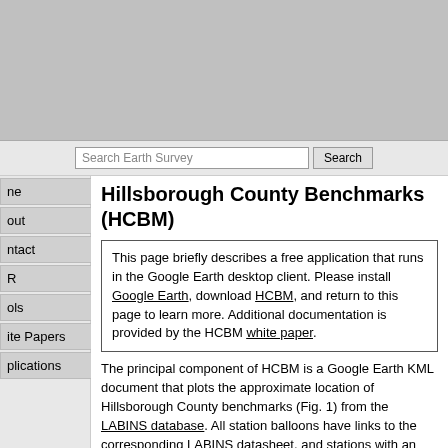[Figure (screenshot): Gray banner at top of webpage]
Hillsborough County Benchmarks (HCBM)
This page briefly describes a free application that runs in the Google Earth desktop client. Please install Google Earth, download HCBM, and return to this page to learn more. Additional documentation is provided by the HCBM white paper.
The principal component of HCBM is a Google Earth KML document that plots the approximate location of Hillsborough County benchmarks (Fig. 1) from the LABINS database. All station balloons have links to the corresponding LABINS datasheet, and stations with an NGS PID also have links to the NGS database. Station balloons contain corrective remarks for stations with errors or omissions in the LABINS database.